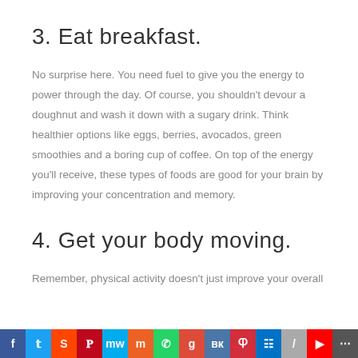3. Eat breakfast.
No surprise here. You need fuel to give you the energy to power through the day. Of course, you shouldn't devour a doughnut and wash it down with a sugary drink. Think healthier options like eggs, berries, avocados, green smoothies and a boring cup of coffee. On top of the energy you'll receive, these types of foods are good for your brain by improving your concentration and memory.
4. Get your body moving.
Remember, physical activity doesn't just improve your overall